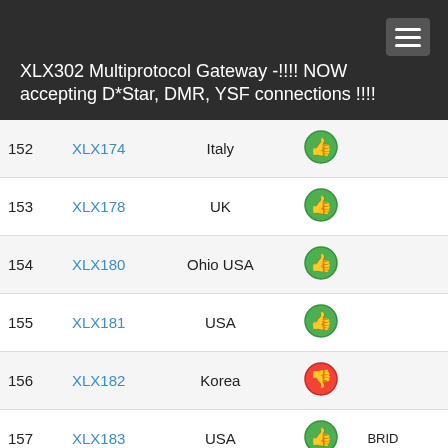XLX302 Multiprotocol Gateway -!!!! NOW accepting D*Star, DMR, YSF connections !!!!
| # | Callsign | Location | Status | Info |
| --- | --- | --- | --- | --- |
| 152 | XLX174 | Italy | up |  |
| 153 | XLX178 | UK | up |  |
| 154 | XLX180 | Ohio USA | up |  |
| 155 | XLX181 | USA | up |  |
| 156 | XLX182 | Korea | down |  |
| 157 | XLX183 | USA | up | BRID... |
| 158 | XLX186 | China | down | From Be... |
| 159 | XLX191 | Thailand | up |  |
| 160 | XLX192 | Japan | up |  |